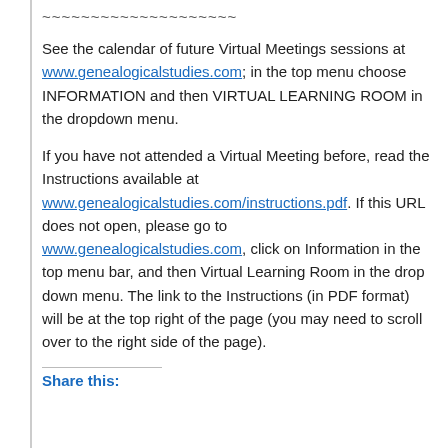~~~~~~~~~~~~~~~~~~~~
See the calendar of future Virtual Meetings sessions at www.genealogicalstudies.com; in the top menu choose INFORMATION and then VIRTUAL LEARNING ROOM in the dropdown menu.
If you have not attended a Virtual Meeting before, read the Instructions available at www.genealogicalstudies.com/instructions.pdf. If this URL does not open, please go to www.genealogicalstudies.com, click on Information in the top menu bar, and then Virtual Learning Room in the drop down menu. The link to the Instructions (in PDF format) will be at the top right of the page (you may need to scroll over to the right side of the page).
Share this: